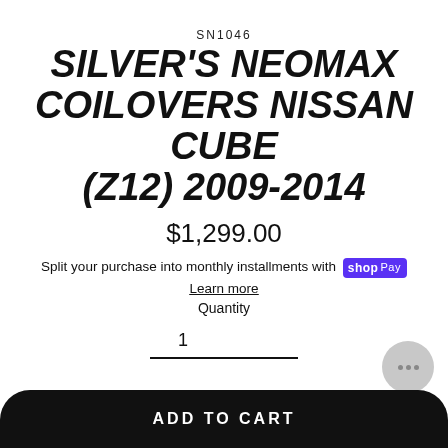SN1046
SILVER'S NEOMAX COILOVERS NISSAN CUBE (Z12) 2009-2014
$1,299.00
Split your purchase into monthly installments with shop Pay
Learn more
Quantity
1
ADD TO CART